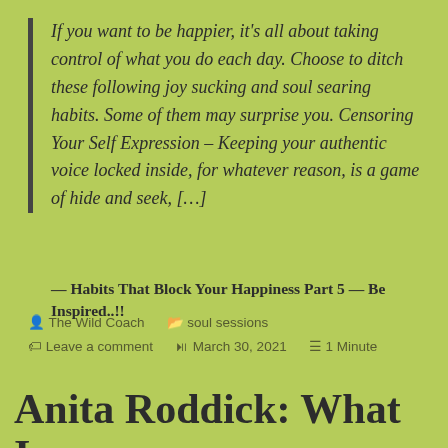If you want to be happier, it's all about taking control of what you do each day. Choose to ditch these following joy sucking and soul searing habits. Some of them may surprise you. Censoring Your Self Expression – Keeping your authentic voice locked inside, for whatever reason, is a game of hide and seek, […]
— Habits That Block Your Happiness Part 5 — Be Inspired..!!
The Wild Coach   soul sessions   Leave a comment   March 30, 2021   1 Minute
Anita Roddick: What Is...